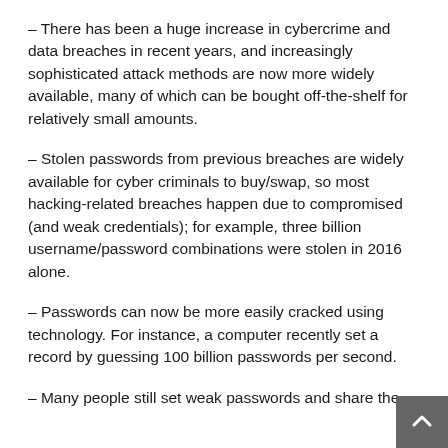– There has been a huge increase in cybercrime and data breaches in recent years, and increasingly sophisticated attack methods are now more widely available, many of which can be bought off-the-shelf for relatively small amounts.
– Stolen passwords from previous breaches are widely available for cyber criminals to buy/swap, so most hacking-related breaches happen due to compromised (and weak credentials); for example, three billion username/password combinations were stolen in 2016 alone.
– Passwords can now be more easily cracked using technology. For instance, a computer recently set a record by guessing 100 billion passwords per second.
– Many people still set weak passwords and share the